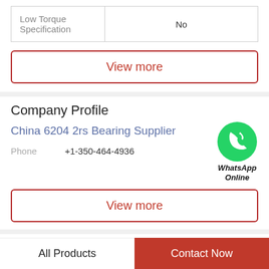| Low Torque Specification | No |
View more
Company Profile
China 6204 2rs Bearing Supplier
[Figure (logo): WhatsApp green circle logo with phone icon and text 'WhatsApp Online']
Phone  +1-350-464-4936
View more
Related N...
All Products   Contact Now